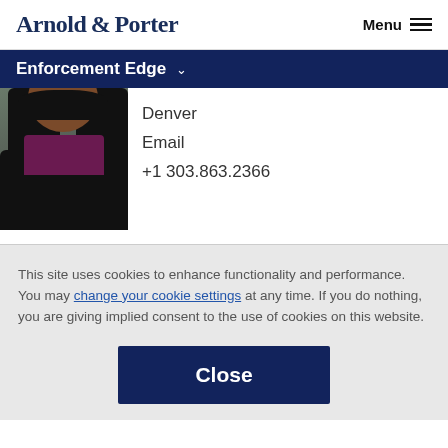Arnold & Porter   Menu
Enforcement Edge
[Figure (photo): Headshot of a woman with dark curly hair, wearing a black jacket and purple/magenta top, smiling, in front of a dark background.]
Denver
Email
+1 303.863.2366
This site uses cookies to enhance functionality and performance. You may change your cookie settings at any time. If you do nothing, you are giving implied consent to the use of cookies on this website.
Close